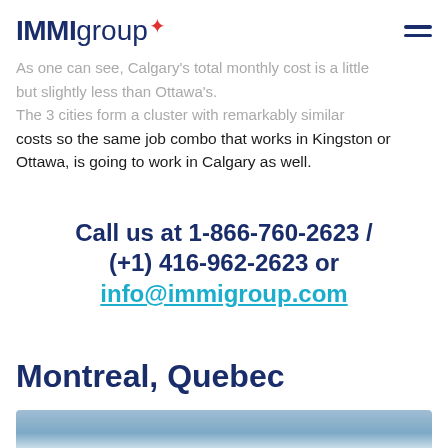IMMIgroup
As one can see, Calgary's total monthly cost is a little but slightly less than Ottawa's. The 3 cities form a cluster with remarkably similar costs so the same job combo that works in Kingston or Ottawa, is going to work in Calgary as well.
Call us at 1-866-760-2623 / (+1) 416-962-2623 or info@immigroup.com
Montreal, Quebec
[Figure (photo): Photo of Montreal, Quebec — partial view showing top of image, blue-grey gradient sky/water]